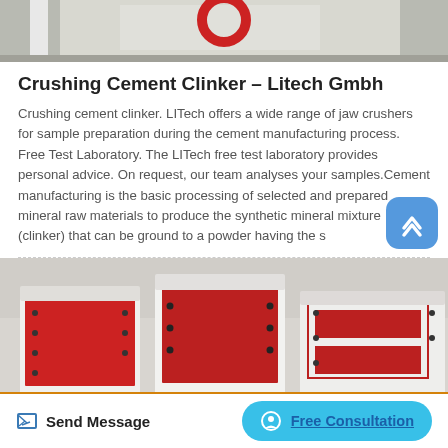[Figure (photo): Top portion of industrial crushing machinery, white frame with red circular element visible, close-up photo]
Crushing Cement Clinker – Litech Gmbh
Crushing cement clinker. LITech offers a wide range of jaw crushers for sample preparation during the cement manufacturing process. Free Test Laboratory. The LITech free test laboratory provides personal advice. On request, our team analyses your samples.Cement manufacturing is the basic processing of selected and prepared mineral raw materials to produce the synthetic mineral mixture (clinker) that can be ground to a powder having the s
[Figure (photo): Industrial jaw crusher machines, white body with red interior panels visible, multiple units shown from above at an angle]
Send Message
Free Consultation